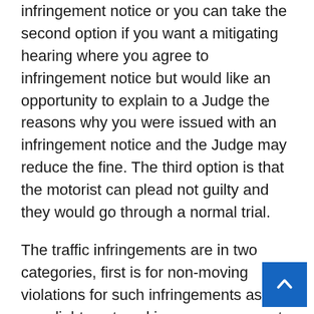infringement notice or you can take the second option if you want a mitigating hearing where you agree to infringement notice but would like an opportunity to explain to a Judge the reasons why you were issued with an infringement notice and the Judge may reduce the fine. The third option is that the motorist can plead not guilty and they would go through a normal trial.
The traffic infringements are in two categories, first is for non-moving violations for such infringements as your lights not working or your warrant of fitness has expired, these infringements will cost you around $50. The second type of infringement notice is for moving violations such as speeding, failing to stop at a stop sign or failing give way will incur a $75 fine and will increase depending on the severity of the danger it presents